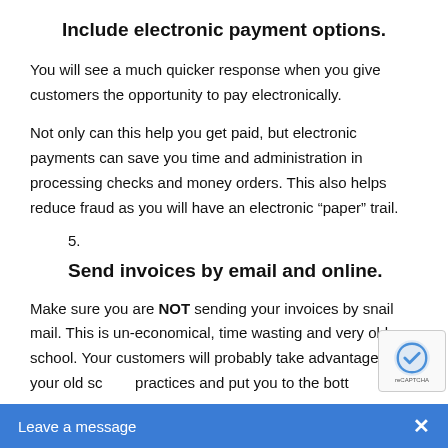Include electronic payment options.
You will see a much quicker response when you give customers the opportunity to pay electronically.
Not only can this help you get paid, but electronic payments can save you time and administration in processing checks and money orders. This also helps reduce fraud as you will have an electronic “paper” trail.
5.
Send invoices by email and online.
Make sure you are NOT sending your invoices by snail mail. This is un-economical, time wasting and very old school. Your customers will probably take advantage of your old school practices and put you to the bott…